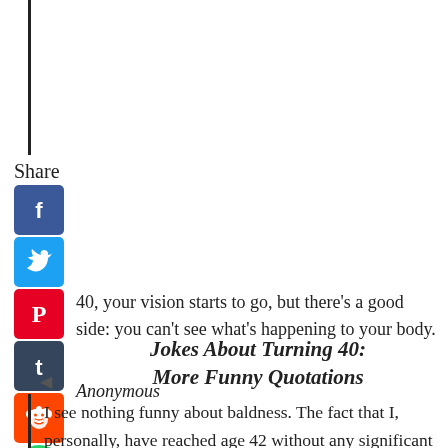[Figure (illustration): Vertical black bar on left margin at top of page]
Share
[Figure (infographic): Social media share icons column: Facebook (blue), Twitter (light blue), Pinterest (red), Tumblr (dark blue), Reddit (orange), WhatsApp (green), Messenger (blue)]
40, your vision starts to go, but there’s a good side: you can’t see what’s happening to your body.
Anonymous
[Figure (other): Left-pointing triangle arrow icon]
Jokes About Turning 40:
More Funny Quotations
[Figure (illustration): Vertical black bar on left margin beside bottom quote]
I see nothing funny about baldness. The fact that I, personally, have reached age 42 without any significant